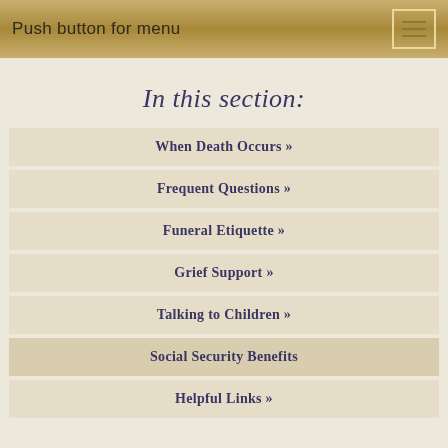Push button for menu
In this section:
When Death Occurs »
Frequent Questions »
Funeral Etiquette »
Grief Support »
Talking to Children »
Social Security Benefits
Helpful Links »